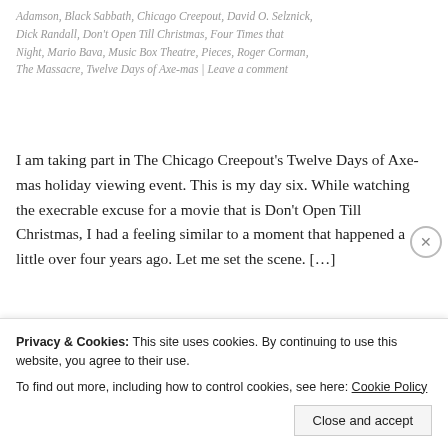Adamson, Black Sabbath, Chicago Creepout, David O. Selznick, Dick Randall, Don't Open Till Christmas, Four Times that Night, Mario Bava, Music Box Theatre, Pieces, Roger Corman, The Massacre, Twelve Days of Axe-mas | Leave a comment
I am taking part in The Chicago Creepout's Twelve Days of Axe-mas holiday viewing event. This is my day six. While watching the execrable excuse for a movie that is Don't Open Till Christmas, I had a feeling similar to a moment that happened a little over four years ago. Let me set the scene. […]
The Cohen Case Files: God Told Me To [aka Demon] (1976)
Privacy & Cookies: This site uses cookies. By continuing to use this website, you agree to their use.
To find out more, including how to control cookies, see here: Cookie Policy